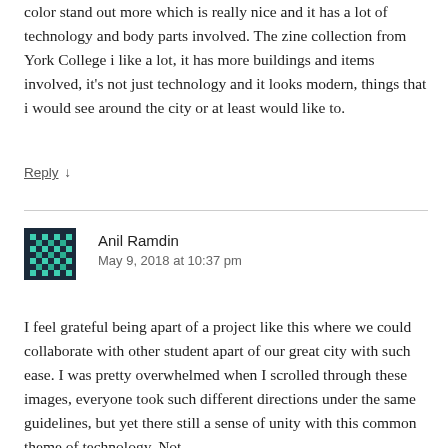color stand out more which is really nice and it has a lot of technology and body parts involved. The zine collection from York College i like a lot, it has more buildings and items involved, it's not just technology and it looks modern, things that i would see around the city or at least would like to.
Reply ↓
[Figure (illustration): Pixel art avatar icon with teal/green and dark blue checkerboard pattern on dark background]
Anil Ramdin
May 9, 2018 at 10:37 pm
I feel grateful being apart of a project like this where we could collaborate with other student apart of our great city with such ease. I was pretty overwhelmed when I scrolled through these images, everyone took such different directions under the same guidelines, but yet there still a sense of unity with this common theme of technology. Not